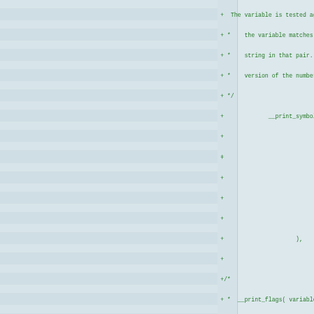Code diff view showing additions to a C source file with __print_symbolic and __print_flags macro documentation and usage